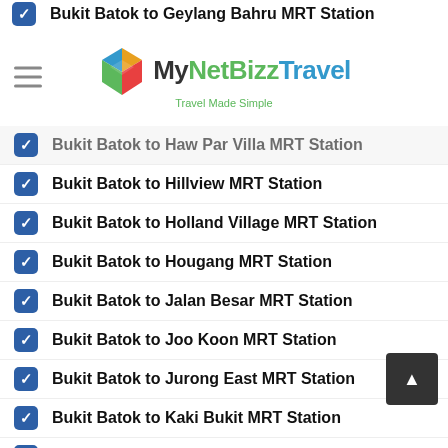Bukit Batok to Geylang Bahru MRT Station
[Figure (logo): MyNetBizz Travel logo with tagline 'Travel Made Simple']
Bukit Batok to Haw Par Villa MRT Station
Bukit Batok to Hillview MRT Station
Bukit Batok to Holland Village MRT Station
Bukit Batok to Hougang MRT Station
Bukit Batok to Jalan Besar MRT Station
Bukit Batok to Joo Koon MRT Station
Bukit Batok to Jurong East MRT Station
Bukit Batok to Kaki Bukit MRT Station
Bukit Batok to Kallang MRT Station
Bukit Batok to Kembangan MRT Station
Bukit Batok to Kent Ridge MRT Station
Bukit Batok to Khatib MRT Station